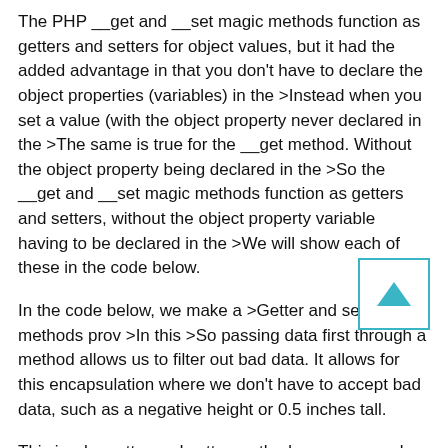The PHP __get and __set magic methods function as getters and setters for object values, but it had the added advantage in that you don't have to declare the object properties (variables) in the >Instead when you set a value (with the object property never declared in the >The same is true for the __get method. Without the object property being declared in the >So the __get and __set magic methods function as getters and setters, without the object property variable having to be declared in the >We will show each of these in the code below.
In the code below, we make a >Getter and setter methods prov >In this >So passing data first through a method allows us to filter out bad data. It allows for this encapsulation where we don't have to accept bad data, such as a negative height or 0.5 inches tall.
This is why getter and setter methods are commonly used.